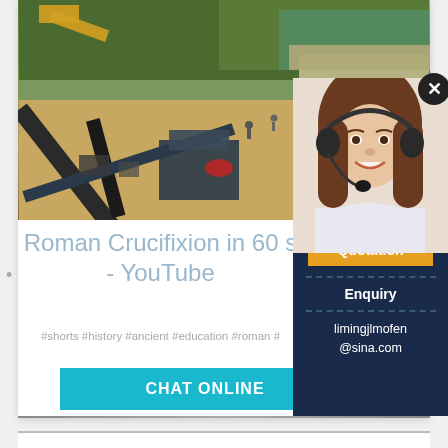[Figure (photo): Mining/quarrying site with conveyor belts, heavy machinery, excavator, and industrial equipment in an outdoor setting with trees in background]
Roman Crucifixion in 60 s - YouTube
#shorts #history #ancient #education #roman #
CHAT ONLINE
[Figure (photo): Customer service agent, a smiling woman with headset/microphone, used as chat support avatar]
Have any requests, click here.
Quotation
Enquiry
limingjlmofen@sina.com